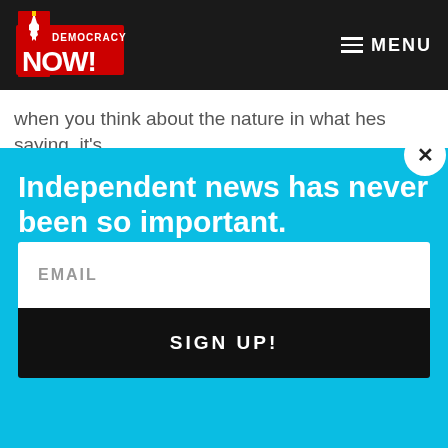Democracy Now! — MENU
when you think about the nature in what hes saying, its absurd that people will dismiss it and say, "Yeah, he was
Independent news has never been so important.
Did you know that you can get Democracy Now! delivered to your inbox every day? Sign up for our Daily News Digest today! Don't worry, we'll never share or sell your information.
EMAIL
SIGN UP!